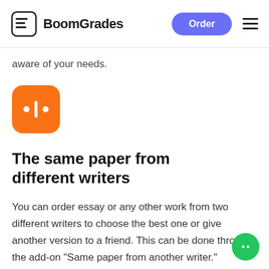BoomGrades  Order
aware of your needs.
[Figure (logo): Orange rounded square icon with two dots and a vertical line — audio/equalizer style icon, white on orange background]
The same paper from different writers
You can order essay or any other work from two different writers to choose the best one or give another version to a friend. This can be done through the add-on "Same paper from another writer."